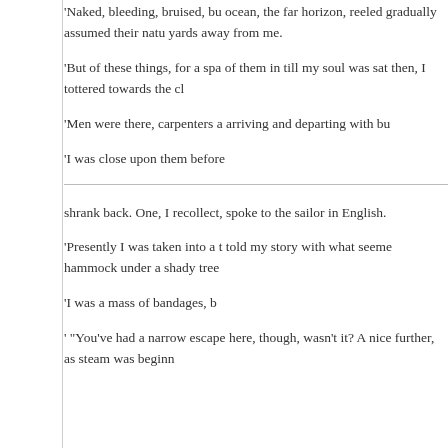'Naked, bleeding, bruised, bu ocean, the far horizon, reeled gradually assumed their natu yards away from me.
'But of these things, for a spa of them in till my soul was sat then, I tottered towards the cl
'Men were there, carpenters a arriving and departing with bu
'I was close upon them before
shrank back. One, I recollect, spoke to the sailor in English.
'Presently I was taken into a t told my story with what seeme hammock under a shady tree
'I was a mass of bandages, b
' "You've had a narrow escape here, though, wasn't it? A nice further, as steam was beginn